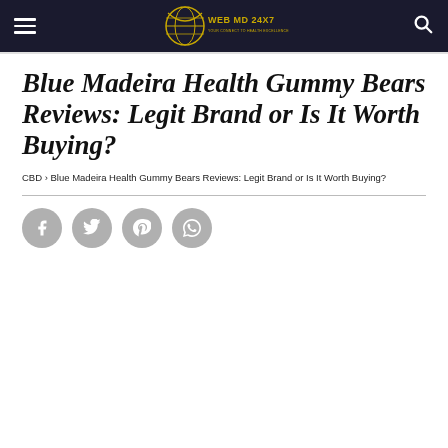WEB MD 24X7
Blue Madeira Health Gummy Bears Reviews: Legit Brand or Is It Worth Buying?
CBD › Blue Madeira Health Gummy Bears Reviews: Legit Brand or Is It Worth Buying?
[Figure (other): Social share buttons: Facebook, Twitter, Pinterest, WhatsApp]